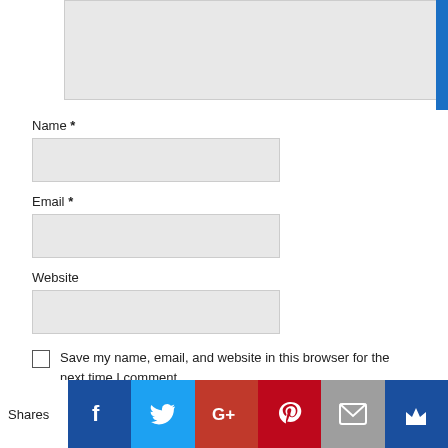[Figure (screenshot): Textarea input box (comment field), partially visible at top of page]
Name *
[Figure (screenshot): Name input field (text box, light gray background)]
Email *
[Figure (screenshot): Email input field (text box, light gray background)]
Website
[Figure (screenshot): Website input field (text box, light gray background)]
Save my name, email, and website in this browser for the next time I comment.
[Figure (infographic): Social share bar with icons: Facebook (dark blue), Twitter (light blue), Google+ (red-orange), Pinterest (red), Email (gray), Crown (dark blue). Label 'Shares' on the left.]